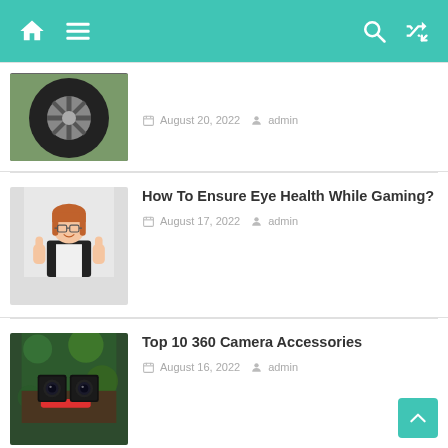Navigation bar with home, menu, search, and shuffle icons
[Figure (photo): Partial view of a car wheel/tire on green background]
August 20, 2022  admin
How To Ensure Eye Health While Gaming?
August 17, 2022  admin
Top 10 360 Camera Accessories
August 16, 2022  admin
The 5 Best Software For Property Managers To Streamline Your